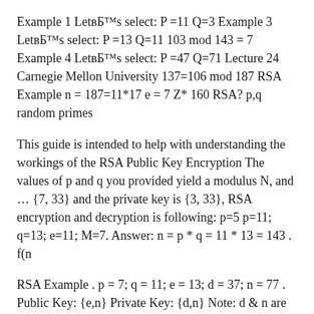Example 1 Let's select: P =11 Q=3 Example 3 Let's select: P =13 Q=11 103 mod 143 = 7 Example 4 Let's select: P =47 Q=71 Lecture 24 Carnegie Mellon University 137=106 mod 187 RSA Example n = 187=11*17 e = 7 Z* 160 RSA? p,q random primes
This guide is intended to help with understanding the workings of the RSA Public Key Encryption The values of p and q you provided yield a modulus N, and ... {7, 33} and the private key is {3, 33}, RSA encryption and decryption is following: p=5 p=11; q=13; e=11; M=7. Answer: n = p * q = 11 * 13 = 143 . f(n
RSA Example . p = 7; q = 11; e = 13; d = 37; n = 77 . Public Key: {e,n} Private Key: {d,n} Note: d & n are